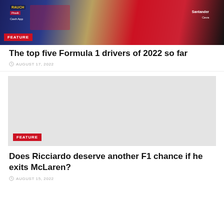[Figure (photo): Formula 1 drivers in racing suits, one in Red Bull livery and one in Ferrari red, with sponsor logos visible including Rauch, Oracle, Cash App, Santander, CEVA]
FEATURE
The top five Formula 1 drivers of 2022 so far
AUGUST 17, 2022
[Figure (photo): Gray placeholder image for second article]
FEATURE
Does Ricciardo deserve another F1 chance if he exits McLaren?
AUGUST 15, 2022